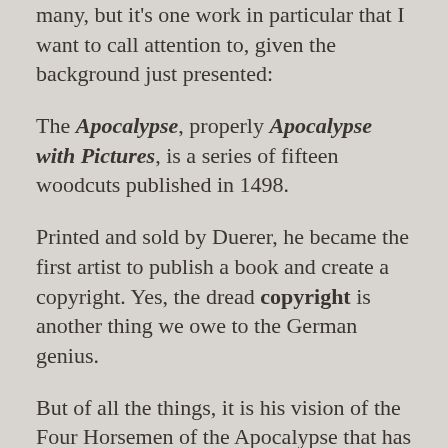many, but it's one work in particular that I want to call attention to, given the background just presented:
The Apocalypse, properly Apocalypse with Pictures, is a series of fifteen woodcuts published in 1498.
Printed and sold by Duerer, he became the first artist to publish a book and create a copyright. Yes, the dread copyright is another thing we owe to the German genius.
But of all the things, it is his vision of the Four Horsemen of the Apocalypse that has stood the test of time: